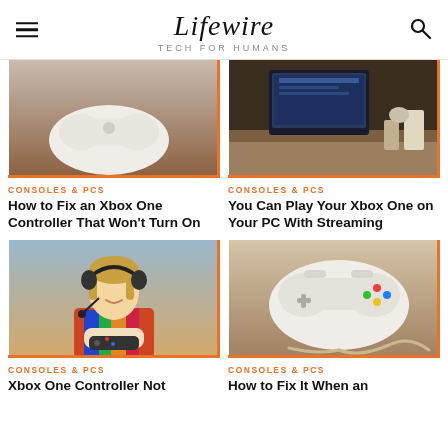Lifewire TECH FOR HUMANS
[Figure (photo): White Xbox One controller on wooden surface]
CONSOLES & PCS
How to Fix an Xbox One Controller That Won't Turn On
[Figure (photo): Desktop PC setup with monitor and keyboard]
CONSOLES & PCS
You Can Play Your Xbox One on Your PC With Streaming
[Figure (photo): Young child with headset holding a game controller]
CONSOLES & PCS
Xbox One Controller Not
[Figure (photo): White Xbox One controller on wooden surface with cable]
CONSOLES & PCS
How to Fix It When an